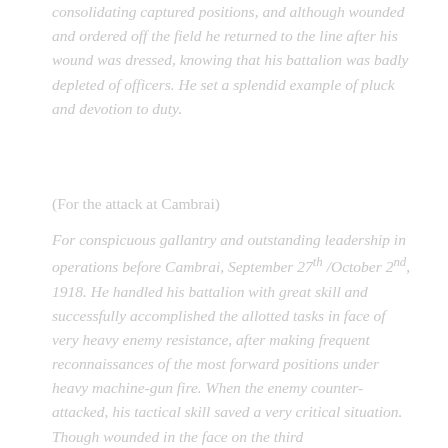consolidating captured positions, and although wounded and ordered off the field he returned to the line after his wound was dressed, knowing that his battalion was badly depleted of officers. He set a splendid example of pluck and devotion to duty.
(For the attack at Cambrai)
For conspicuous gallantry and outstanding leadership in operations before Cambrai, September 27th /October 2nd, 1918. He handled his battalion with great skill and successfully accomplished the allotted tasks in face of very heavy enemy resistance, after making frequent reconnaissances of the most forward positions under heavy machine-gun fire. When the enemy counter-attacked, his tactical skill saved a very critical situation. Though wounded in the face on the third